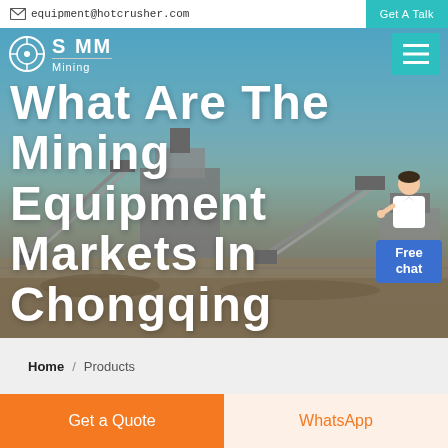equipment@hotcrusher.com   Get A Talk
[Figure (screenshot): Mining equipment industrial facility hero banner with conveyor belts and crushers, teal sky background]
What Are The Mining Equipment Markets In Chongqing
S MM Mining (logo with navigation hamburger menu)
[Figure (illustration): Customer support avatar with Free chat button]
Home / Products
Different
Get a Quote
WhatsApp